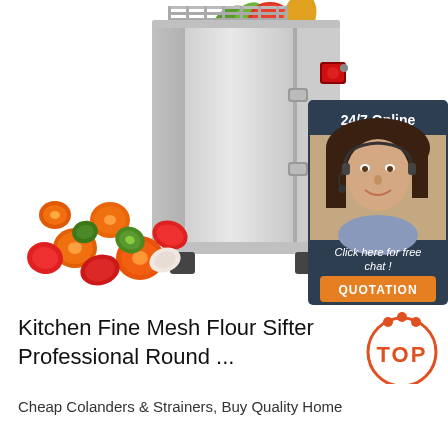[Figure (photo): Commercial vegetable slicer/cutting machine, stainless steel body with latches and red button, vegetables being fed from top and sliced vegetables (carrots, cucumbers, peppers, onions) flying out from the bottom/side. Overlaid with a '24/7 Online' chat widget showing a woman with headset and a 'Click here for free chat! QUOTATION' button.]
Kitchen Fine Mesh Flour Sifter Professional Round ...
Cheap Colanders & Strainers, Buy Quality Home